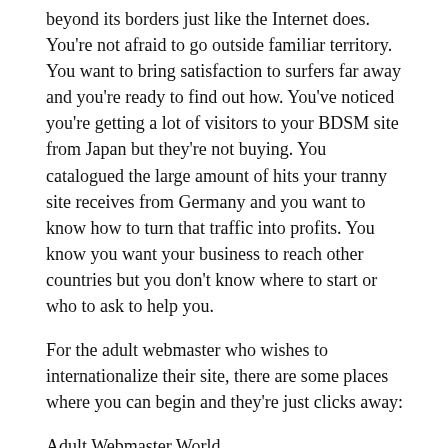beyond its borders just like the Internet does. You're not afraid to go outside familiar territory. You want to bring satisfaction to surfers far away and you're ready to find out how. You've noticed you're getting a lot of visitors to your BDSM site from Japan but they're not buying. You catalogued the large amount of hits your tranny site receives from Germany and you want to know how to turn that traffic into profits. You know you want your business to reach other countries but you don't know where to start or who to ask to help you.
For the adult webmaster who wishes to internationalize their site, there are some places where you can begin and they're just clicks away:
Adult Webmaster World (http://www.adultwebmasterworld.com) This fine adult webmaster resource site is not only an Xbiz